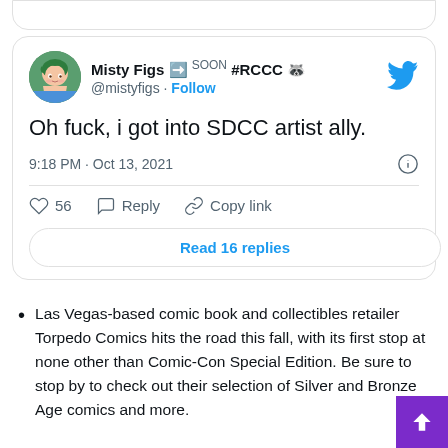[Figure (screenshot): Top portion of a tweet card, partially cut off at the top of the page]
[Figure (screenshot): Twitter/X post by Misty Figs (@mistyfigs) saying 'Oh fuck, i got into SDCC artist ally.' posted at 9:18 PM · Oct 13, 2021 with 56 likes and 16 replies]
Las Vegas-based comic book and collectibles retailer Torpedo Comics hits the road this fall, with its first stop at none other than Comic-Con Special Edition. Be sure to stop by to check out their selection of Silver and Bronze Age comics and more.